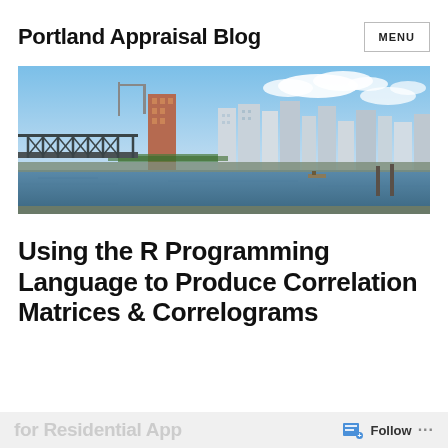Portland Appraisal Blog
[Figure (photo): Panoramic photo of Portland city skyline with a steel truss bridge over a river in the foreground, skyscrapers and blue sky with clouds in the background.]
Using the R Programming Language to Produce Correlation Matrices & Correlograms
for Residential App...  Follow  ...